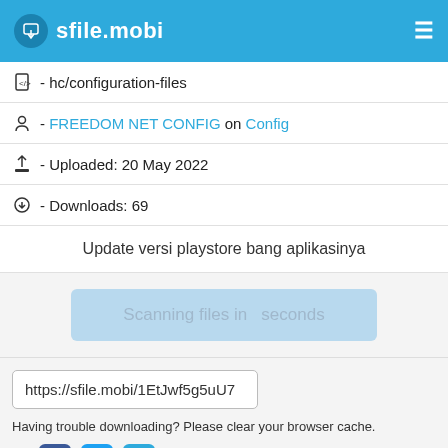sfile.mobi
- hc/configuration-files
- FREEDOM NET CONFIG on Config
- Uploaded: 20 May 2022
- Downloads: 69
Update versi playstore bang aplikasinya
Scanning files in  seconds
https://sfile.mobi/1EtJwf5g5uU7
Having trouble downloading? Please clear your browser cache.
Share